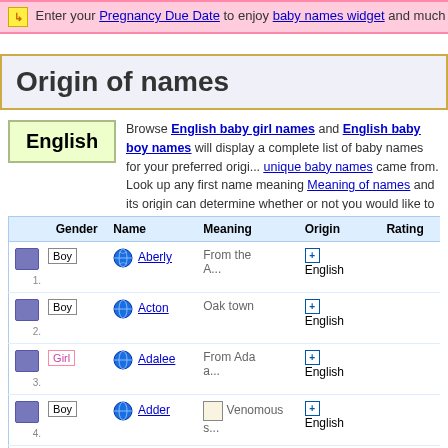Enter your Pregnancy Due Date to enjoy baby names widget and much more
Origin of names
Browse English baby girl names and English baby boy names will display a complete list of baby names for your preferred origin. unique baby names came from. Look up any first name meaning Meaning of names and its origin can determine whether or not you would like to choose it.
|  | Gender | Name | Meaning | Origin | Rating |
| --- | --- | --- | --- | --- | --- |
| 1. | Boy | Aberly | From the A... | English |  |
| 2. | Boy | Acton | Oak town | English |  |
| 3. | Girl | Adalee | From Ada a... | English |  |
| 4. | Boy | Adder | Venomous s... | English |  |